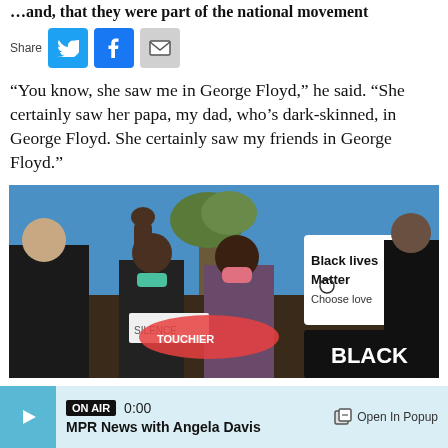…and, that they were part of the national movement
Share
“You know, she saw me in George Floyd,” he said. “She certainly saw her papa, my dad, who’s dark-skinned, in George Floyd. She certainly saw my friends in George Floyd.”
[Figure (photo): Protesters at a Black Lives Matter rally holding signs reading 'Black Lives Matter', 'Choose Love', and 'BLACK'. People are shouting with fists raised.]
ON AIR 0:00 MPR News with Angela Davis  Open In Popup